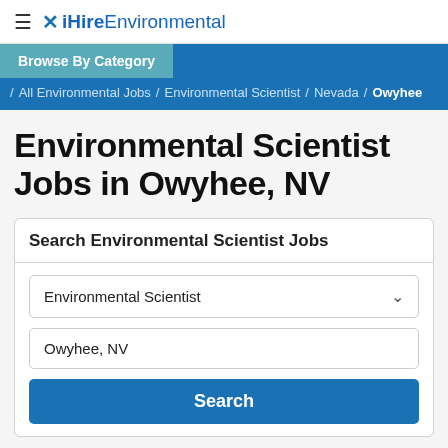≡ iHireEnvironmental
Browse By Category / All Environmental Jobs / Environmental Scientist / Nevada / Owyhee
Environmental Scientist Jobs in Owyhee, NV
Search Environmental Scientist Jobs
Environmental Scientist
Owyhee, NV
Search